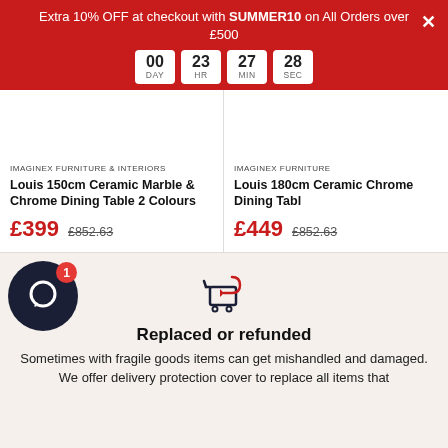Extra 10% OFF at checkout with SUMMER10 on All Orders over £500
Countdown: 00 DAY 23 HR 27 MIN 28 SEC
IMAGINEX FURNITURE & INTERIORS
Louis 150cm Ceramic Marble & Chrome Dining Table 2 Colours
£399  £852.63
IMAGINEX FURNITURE
Louis 180cm Ceramic Chrome Dining Table
£449  £852.63
[Figure (illustration): Return/refund cart icon with arrow]
Replaced or refunded
Sometimes with fragile goods items can get mishandled and damaged. We offer delivery protection cover to replace all items that